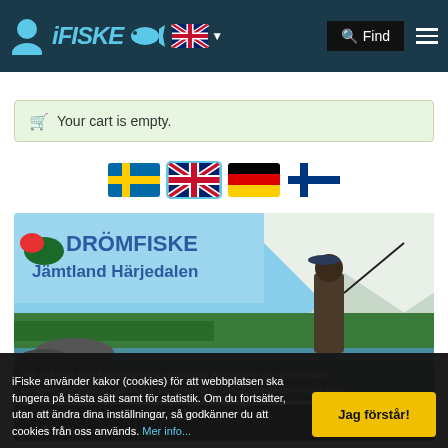iFISKE - navigation header with logo, language selector, search and menu
Your cart is empty.
[Figure (other): Four country flag icons: Sweden, UK, Germany, Finland]
[Figure (photo): Drömfiske Jämtland Härjedalen advertisement showing a fisherman by a river with text: När fisket är som bäst! Drömfiske Jämtland Härjedalen ger sportfiskaren utmärkta förutsättningar under alla säsonger! Besök oss på dromfiske.com]
iFiske använder kakor (cookies) för att webbplatsen ska fungera på bästa sätt samt för statistik. Om du fortsätter, utan att ändra dina inställningar, så godkänner du att cookies från oss används. Mer info...